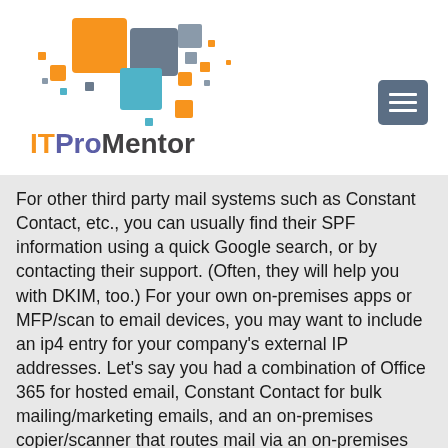[Figure (logo): ITProMentor logo consisting of colorful squares/dots in orange, blue-gray, and teal, arranged in a mosaic pattern above the brand name text]
ITProMentor
For other third party mail systems such as Constant Contact, etc., you can usually find their SPF information using a quick Google search, or by contacting their support. (Often, they will help you with DKIM, too.) For your own on-premises apps or MFP/scan to email devices, you may want to include an ip4 entry for your company's external IP addresses. Let's say you had a combination of Office 365 for hosted email, Constant Contact for bulk mailing/marketing emails, and an on-premises copier/scanner that routes mail via an on-premises SMTP service, with external IP of 87.65.43.21–then you would have this SPF to publish: